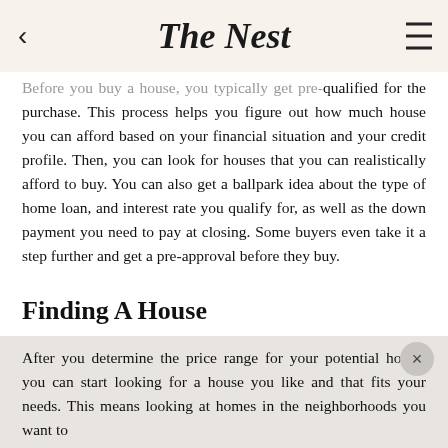The Nest
Before you buy a house, you typically get pre-qualified for the purchase. This process helps you figure out how much house you can afford based on your financial situation and your credit profile. Then, you can look for houses that you can realistically afford to buy. You can also get a ballpark idea about the type of home loan, and interest rate you qualify for, as well as the down payment you need to pay at closing. Some buyers even take it a step further and get a pre-approval before they buy.
Finding A House
After you determine the price range for your potential house, you can start looking for a house you like and that fits your needs. This means looking at homes in the neighborhoods you want to